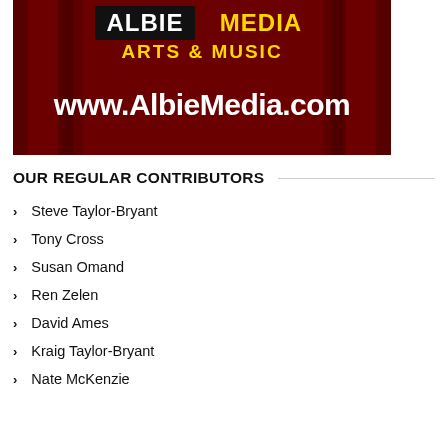[Figure (logo): Albie Media Arts & Music logo with red curtain background and website www.AlbieMedia.com]
OUR REGULAR CONTRIBUTORS
Steve Taylor-Bryant
Tony Cross
Susan Omand
Ren Zelen
David Ames
Kraig Taylor-Bryant
Nate McKenzie